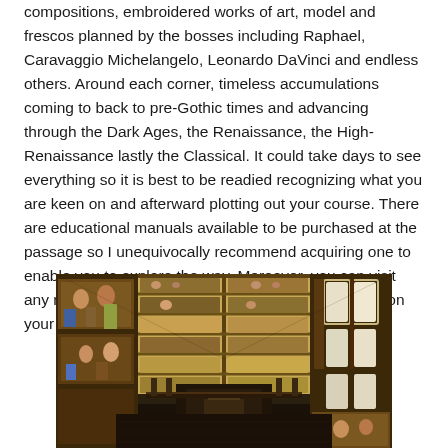compositions, embroidered works of art, model and frescos planned by the bosses including Raphael, Caravaggio Michelangelo, Leonardo DaVinci and endless others. Around each corner, timeless accumulations coming to back to pre-Gothic times and advancing through the Dark Ages, the Renaissance, the High-Renaissance lastly the Classical. It could take days to see everything so it is best to be readied recognizing what you are keen on and afterward plotting out your course. There are educational manuals available to be purchased at the passage so I unequivocally recommend acquiring one to enable you to explore the way. Moreover, you can visit any number of Vatican Museums sites to control you on your way. I observed them to be extremely helpful.
[Figure (photo): Interior photo of the Sistine Chapel showing the elaborately frescoed ceiling painted by Michelangelo, with ornate painted walls on both sides and windows along the right side. The perspective looks down the length of the chapel toward the altar.]